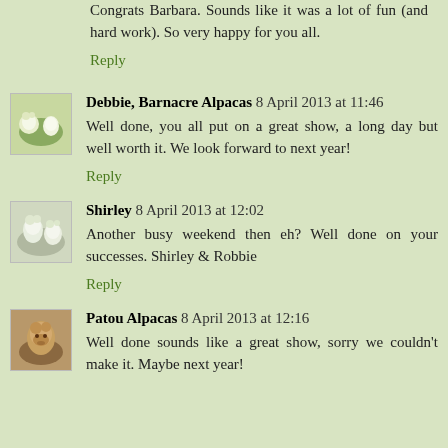Congrats Barbara. Sounds like it was a lot of fun (and hard work). So very happy for you all.
Reply
Debbie, Barnacre Alpacas 8 April 2013 at 11:46
Well done, you all put on a great show, a long day but well worth it. We look forward to next year!
Reply
Shirley 8 April 2013 at 12:02
Another busy weekend then eh? Well done on your successes. Shirley & Robbie
Reply
Patou Alpacas 8 April 2013 at 12:16
Well done sounds like a great show, sorry we couldn't make it. Maybe next year!